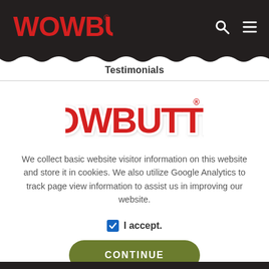WOWBUTTER [logo] [search icon] [menu icon]
Testimonials
[Figure (logo): WOWBUTTER red logo centered on white background]
We collect basic website visitor information on this website and store it in cookies. We also utilize Google Analytics to track page view information to assist us in improving our website.
I accept.
CONTINUE